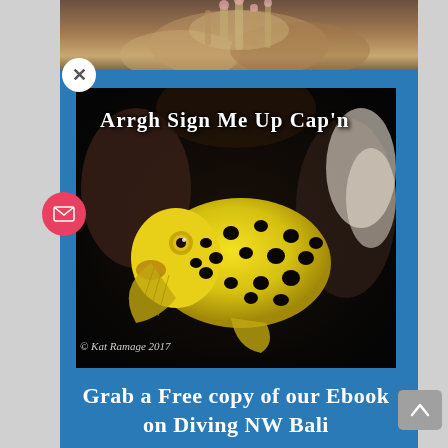[Figure (photo): Top strip showing coral underwater photo]
[Figure (photo): Yellow boxfish with black spots photographed underwater against dark background with coral. Text overlay reads 'Arrgh Sign Me Up Cap'n'. Copyright © Kat Ramage 2017]
Grab a Free copy of our Ebook on Diving NW Bali